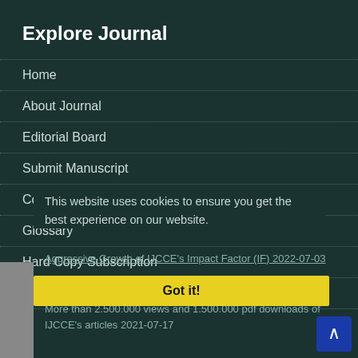Explore Journal
Home
About Journal
Editorial Board
Submit Manuscript
Contact Us
Glossary
Hard Copy Subscription
Sitemap
This website uses cookies to ensure you get the best experience on our website.
Aggressive Growth of IJCCE's Impact Factor (IF) 2022-07-03
Got it!
More than 2,500,000 views and 1,500,000 pdf downloads of IJCCE's articles 2021-07-17